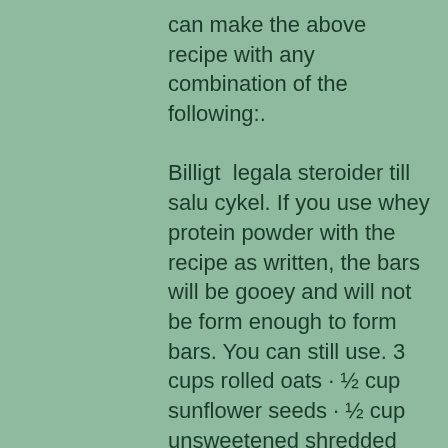can make the above recipe with any combination of the following:. Billigt  legala steroider till salu cykel. If you use whey protein powder with the recipe as written, the bars will be gooey and will not be form enough to form bars. You can still use. 3 cups rolled oats · ½ cup sunflower seeds · ½ cup unsweetened shredded coconut · ¼ cup brown sugar · 1 teaspoon ground cinnamon · 1 teaspoon sea salt. Browse our full selection of healthy and high protein bars. These bar recipes are delicious, easy to make, great for any diet, and cheap! 140g dried apricot · 40g oats · 40g desiccated coconut · 25g sunflower seed · 1 tbsp sesame seeds · 15g dried cranberries · 3 tbsp hemp protein powder · 1. Protein bars aren't just for bodybuilders anymore; they're popping up in every store with all the flavors you could ever think of